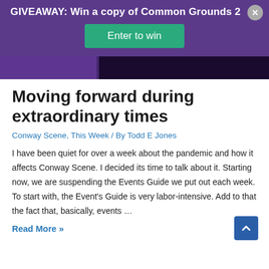GIVEAWAY: Win a copy of Common Grounds 2
Enter to win
[Figure (photo): Dark purple and black image strip, partial banner/photo]
Moving forward during extraordinary times
Conway Scene, This Week / By Todd E Jones
I have been quiet for over a week about the pandemic and how it affects Conway Scene. I decided its time to talk about it. Starting now, we are suspending the Events Guide we put out each week. To start with, the Event's Guide is very labor-intensive. Add to that the fact that, basically, events …
Read More »